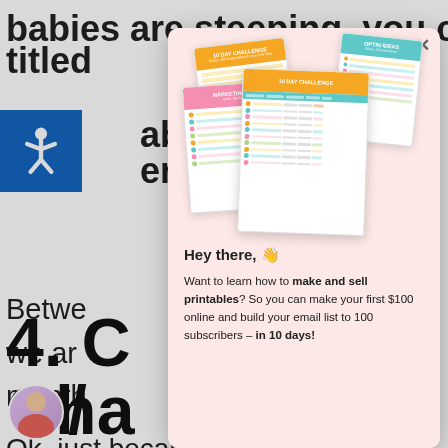babies are steeping, you could add a nz titled
aby s
ere
Betwe
we ar
mont
[Figure (illustration): Modal popup with pink background showing stacked printable worksheets: '10 Day Challenge', 'Optin Ideas', 'Marketing Ideas', and another '10 Day Challenge' card layered on top of each other]
4. C
Cha
Hey there, 👋

Want to learn how to make and sell printables? So you can make your first $100 online and build your email list to 100 subscribers – in 10 days!
Ok, just because you've found a juicy